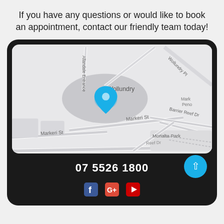If you have any questions or would like to book an appointment, contact our friendly team today!
[Figure (map): Google Maps style street map showing Wollundry area with a blue location pin marker. Streets visible include Wollundry Pl, Allandale Entrance, Markeri St, Barrier Reef Dr, and Morialta Park area.]
07 5526 1800